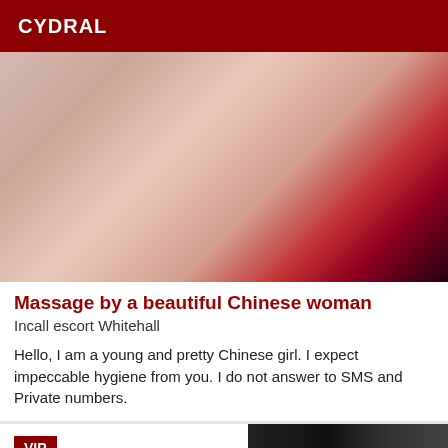CYDRAL
[Figure (photo): Close-up photo of a woman wearing a red top and gold necklaces against a light gray background]
Massage by a beautiful Chinese woman
Incall escort Whitehall
Hello, I am a young and pretty Chinese girl. I expect impeccable hygiene from you. I do not answer to SMS and Private numbers.
[Figure (photo): Partial photo at bottom of page showing dark background, with VIP badge overlay]